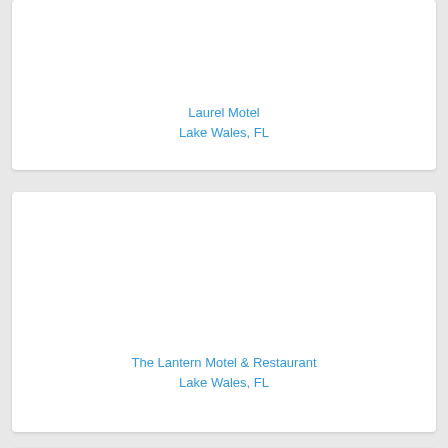Laurel Motel
Lake Wales, FL
[Figure (photo): Photo placeholder for Laurel Motel, Lake Wales, FL]
The Lantern Motel & Restaurant
Lake Wales, FL
[Figure (photo): Photo placeholder for The Lantern Motel & Restaurant, Lake Wales, FL]
[Figure (photo): Photo placeholder for third card (partial)]